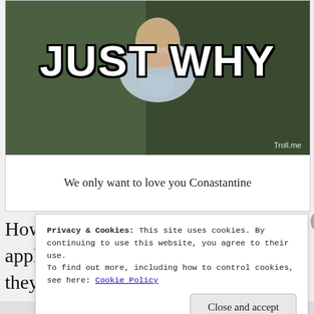[Figure (photo): Meme image showing a person with text 'JUST WHY' in Impact font, with 'Troll.me' watermark]
We only want to love you Conastantine
However, the same year I was applying to writers on the verge and they allowed for applicants to write an episode for Constantine. So I dove right in. I found every comic I could, I watched every
Privacy & Cookies: This site uses cookies. By continuing to use this website, you agree to their use.
To find out more, including how to control cookies, see here: Cookie Policy
Close and accept